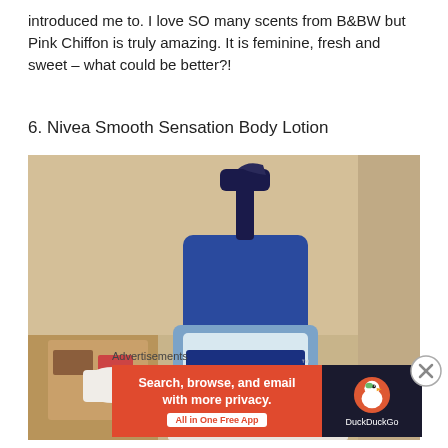introduced me to. I love SO many scents from B&BW but Pink Chiffon is truly amazing. It is feminine, fresh and sweet – what could be better?!
6. Nivea Smooth Sensation Body Lotion
[Figure (photo): Photo of a blue Nivea pump bottle of body lotion on a bathroom counter with a warm yellow wall in the background.]
Advertisements
[Figure (infographic): DuckDuckGo advertisement banner: 'Search, browse, and email with more privacy. All in One Free App' with DuckDuckGo logo on dark background.]